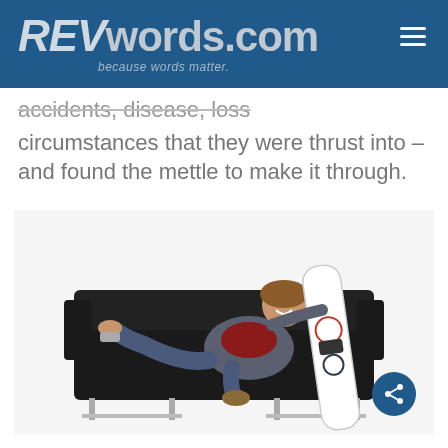REVwords.com — because words matter.
accidents, disease, loss circumstances that they were thrust into – and found the mettle to make it through.
[Figure (photo): A smiling woman reclining on a black leather sofa, holding a decorated snowboard, with a prosthetic leg visible.]